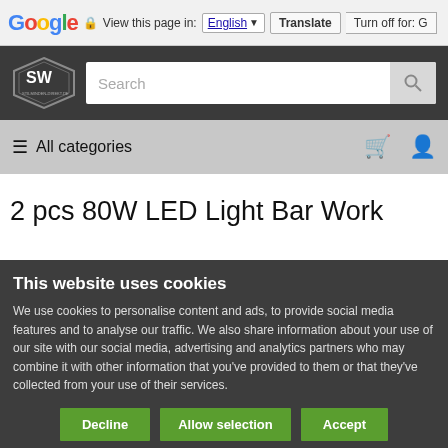Google  View this page in: English  Translate  Turn off for: G
[Figure (screenshot): Website header with SW stilminden-direkt.de logo and search bar on dark background]
≡ All categories
2 pcs 80W LED Light Bar Work
This website uses cookies
We use cookies to personalise content and ads, to provide social media features and to analyse our traffic. We also share information about your use of our site with our social media, advertising and analytics partners who may combine it with other information that you've provided to them or that they've collected from your use of their services.
Decline  Allow selection  Accept
☑ Necessary  ☐ Preferences  ☐ Statistics  ☐ Marketing  Show details